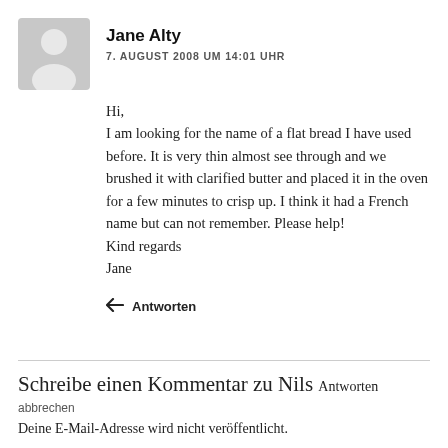[Figure (illustration): Gray avatar silhouette icon of a person, square shape with rounded corners]
Jane Alty
7. AUGUST 2008 UM 14:01 UHR
Hi,
I am looking for the name of a flat bread I have used before. It is very thin almost see through and we brushed it with clarified butter and placed it in the oven for a few minutes to crisp up. I think it had a French name but can not remember. Please help!
Kind regards
Jane
Antworten
Schreibe einen Kommentar zu Nils Antworten
abbrechen
Deine E-Mail-Adresse wird nicht veröffentlicht.